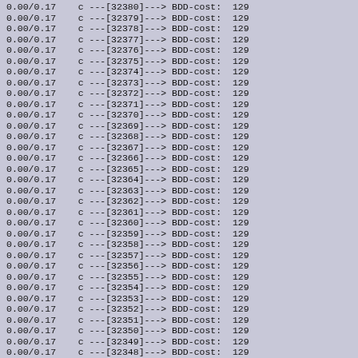0.00/0.17   c ---[32380]---> BDD-cost:  129
0.00/0.17   c ---[32379]---> BDD-cost:  129
0.00/0.17   c ---[32378]---> BDD-cost:  129
0.00/0.17   c ---[32377]---> BDD-cost:  129
0.00/0.17   c ---[32376]---> BDD-cost:  129
0.00/0.17   c ---[32375]---> BDD-cost:  129
0.00/0.17   c ---[32374]---> BDD-cost:  129
0.00/0.17   c ---[32373]---> BDD-cost:  129
0.00/0.17   c ---[32372]---> BDD-cost:  129
0.00/0.17   c ---[32371]---> BDD-cost:  129
0.00/0.17   c ---[32370]---> BDD-cost:  129
0.00/0.17   c ---[32369]---> BDD-cost:  129
0.00/0.17   c ---[32368]---> BDD-cost:  129
0.00/0.17   c ---[32367]---> BDD-cost:  129
0.00/0.17   c ---[32366]---> BDD-cost:  129
0.00/0.17   c ---[32365]---> BDD-cost:  129
0.00/0.17   c ---[32364]---> BDD-cost:  129
0.00/0.17   c ---[32363]---> BDD-cost:  129
0.00/0.17   c ---[32362]---> BDD-cost:  129
0.00/0.17   c ---[32361]---> BDD-cost:  129
0.00/0.17   c ---[32360]---> BDD-cost:  129
0.00/0.17   c ---[32359]---> BDD-cost:  129
0.00/0.17   c ---[32358]---> BDD-cost:  129
0.00/0.17   c ---[32357]---> BDD-cost:  129
0.00/0.17   c ---[32356]---> BDD-cost:  129
0.00/0.17   c ---[32355]---> BDD-cost:  129
0.00/0.17   c ---[32354]---> BDD-cost:  129
0.00/0.17   c ---[32353]---> BDD-cost:  129
0.00/0.17   c ---[32352]---> BDD-cost:  129
0.00/0.17   c ---[32351]---> BDD-cost:  129
0.00/0.17   c ---[32350]---> BDD-cost:  129
0.00/0.17   c ---[32349]---> BDD-cost:  129
0.00/0.17   c ---[32348]---> BDD-cost:  129